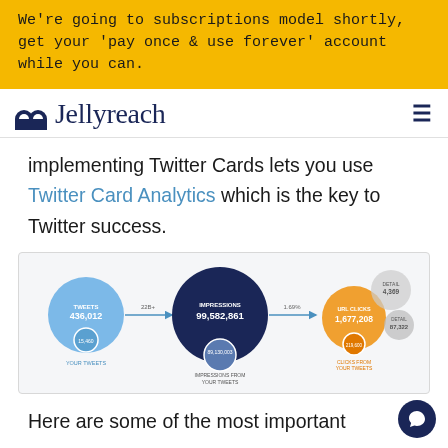We're going to subscriptions model shortly, get your 'pay once & use forever' account while you can.
Jellyreach
implementing Twitter Cards lets you use Twitter Card Analytics which is the key to Twitter success.
[Figure (infographic): Twitter Card Analytics infographic showing flow: TWEETS 436,012 → (22B+) → IMPRESSIONS 99,582,861 → (1.69%) → URL CLICKS 1,677,208 with sub-circles for YOUR TWEETS and IMPRESSIONS FROM YOUR TWEETS, and additional smaller circles for detail metrics and CLICKS FROM YOUR TWEETS]
Here are some of the most important